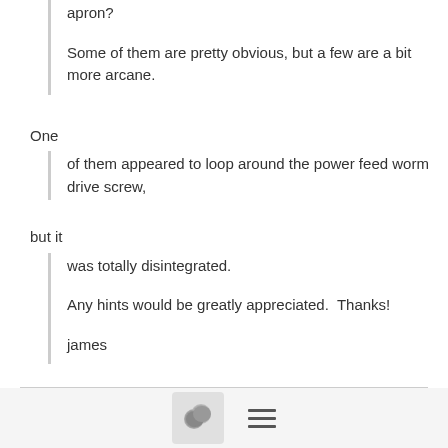apron?
Some of them are pretty obvious, but a few are a bit more arcane.
One
of them appeared to loop around the power feed worm drive screw,
but it
was totally disintegrated.

Any hints would be greatly appreciated.  Thanks!

james
[Figure (other): Comment/chat icon button and hamburger menu icon in a footer bar]